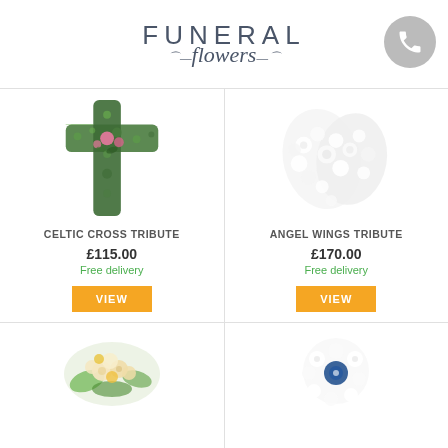FUNERAL flowers
[Figure (photo): Celtic cross floral tribute made of green moss with pink roses in the center]
CELTIC CROSS TRIBUTE
£115.00
Free delivery
[Figure (photo): Angel wings floral tribute made of white flowers]
ANGEL WINGS TRIBUTE
£170.00
Free delivery
[Figure (photo): Round floral arrangement with cream and yellow roses with greenery]
[Figure (photo): White circular floral tribute with blue center detail]